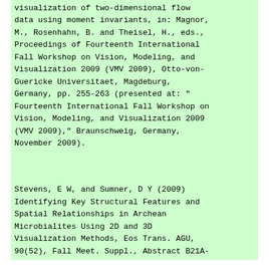visualization of two-dimensional flow data using moment invariants, in: Magnor, M., Rosenhahn, B. and Theisel, H., eds., Proceedings of Fourteenth International Fall Workshop on Vision, Modeling, and Visualization 2009 (VMV 2009), Otto-von-Guericke Universitaet, Magdeburg, Germany, pp. 255-263 (presented at: "Fourteenth International Fall Workshop on Vision, Modeling, and Visualization 2009 (VMV 2009)," Braunschweig, Germany, November 2009).
Stevens, E W, and Sumner, D Y (2009) Identifying Key Structural Features and Spatial Relationships in Archean Microbialites Using 2D and 3D Visualization Methods, Eos Trans. AGU, 90(52), Fall Meet. Suppl., Abstract B21A-